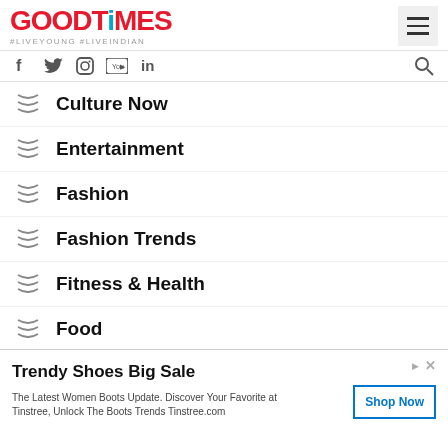GOODTiMES #LIVEYOUNG #LIVEINDIAN
Culture Now
Entertainment
Fashion
Fashion Trends
Fitness & Health
Food
Food Trends
Trendy Shoes Big Sale
The Latest Women Boots Update. Discover Your Favorite at Tinstree, Unlock The Boots Trends Tinstree.com